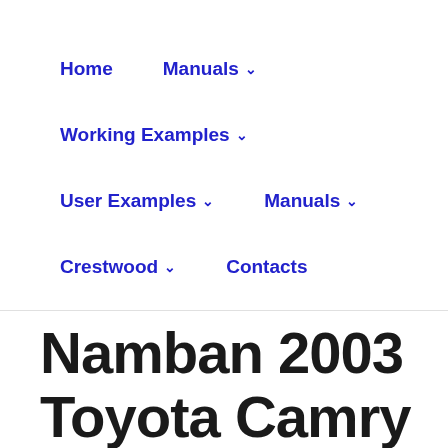Home   Manuals ∨
Working Examples ∨
User Examples ∨   Manuals ∨
Crestwood ∨   Contacts
Namban 2003 Toyota Camry